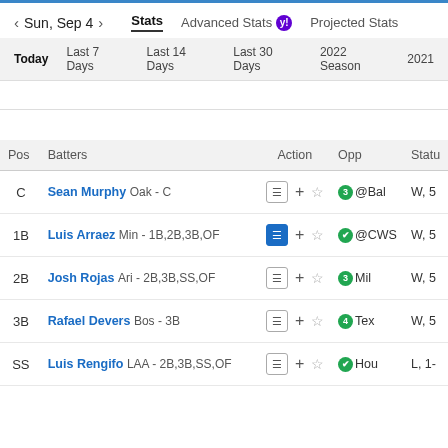Sun, Sep 4  Stats  Advanced Stats  Projected Stats
Today  Last 7 Days  Last 14 Days  Last 30 Days  2022 Season  2021
| Pos | Batters | Action | Opp | Statu |
| --- | --- | --- | --- | --- |
| C | Sean Murphy Oak - C | ☰ + ☆ | ❸ @Bal | W, 5 |
| 1B | Luis Arraez Min - 1B,2B,3B,OF | ☰ + ☆ | ✔ @CWS | W, 5 |
| 2B | Josh Rojas Ari - 2B,3B,SS,OF | ☰ + ☆ | ❸ Mil | W, 5 |
| 3B | Rafael Devers Bos - 3B | ☰ + ☆ | ❹ Tex | W, 5 |
| SS | Luis Rengifo LAA - 2B,3B,SS,OF | ☰ + ☆ | ✔ Hou | L, 1- |